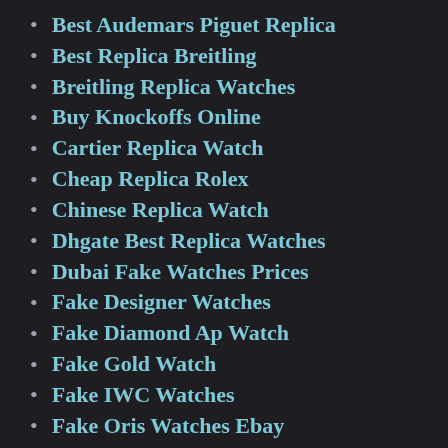Best Audemars Piguet Replica
Best Replica Breitling
Breitling Replica Watches
Buy Knockoffs Online
Cartier Replica Watch
Cheap Replica Rolex
Chinese Replica Watch
Dhgate Best Replica Watches
Dubai Fake Watches Prices
Fake Designer Watches
Fake Diamond Ap Watch
Fake Gold Watch
Fake IWC Watches
Fake Oris Watches Ebay
Fake Rolex
Fake Rolex For Sales